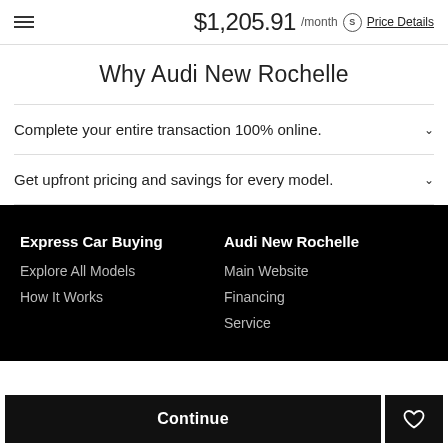$1,205.91 /month  Price Details
Why Audi New Rochelle
Complete your entire transaction 100% online.
Get upfront pricing and savings for every model.
Express Car Buying
Explore All Models
How It Works
Audi New Rochelle
Main Website
Financing
Service
Continue